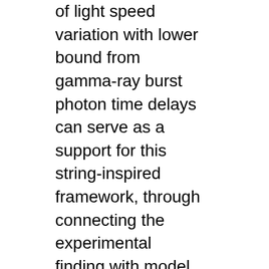of light speed variation with lower bound from gamma-ray burst photon time delays can serve as a support for this string-inspired framework, through connecting the experimental finding with model predictions. We also derive the value of the effective quantum-gravity mass in this framework, and give a qualitative study on the